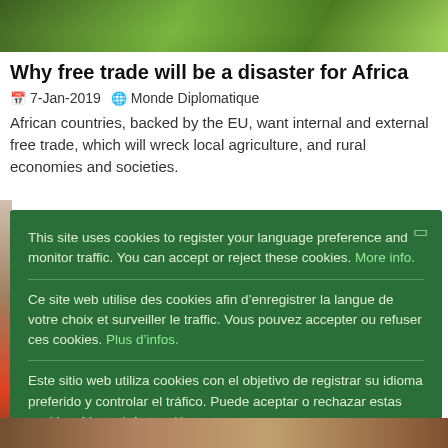[Figure (photo): Green foliage/tree canopy photo at top of page]
Why free trade will be a disaster for Africa
7-Jan-2019  Monde Diplomatique
African countries, backed by the EU, want internal and external free trade, which will wreck local agriculture, and rural economies and societies.
This site uses cookies to register your language preference and monitor traffic. You can accept or reject these cookies. More info.
Ce site web utilise des cookies afin d'enregistrer la langue de votre choix et surveiller le traffic. Vous pouvez accepter ou refuser ces cookies. Plus d'infos.
Este sitio web utiliza cookies con el objetivo de registrar su idioma preferido y controlar el tráfico. Puede aceptar o rechazar estas cookies. Mayor información.
Ok